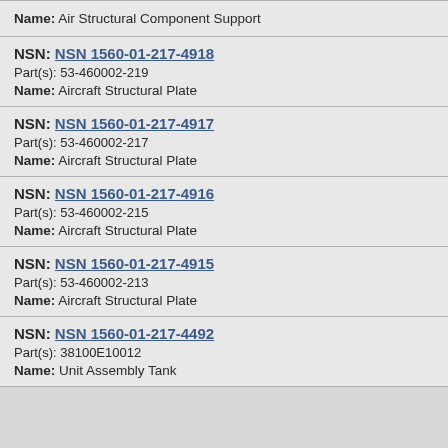Name: Air Structural Component Support
NSN: NSN 1560-01-217-4918
Part(s): 53-460002-219
Name: Aircraft Structural Plate
NSN: NSN 1560-01-217-4917
Part(s): 53-460002-217
Name: Aircraft Structural Plate
NSN: NSN 1560-01-217-4916
Part(s): 53-460002-215
Name: Aircraft Structural Plate
NSN: NSN 1560-01-217-4915
Part(s): 53-460002-213
Name: Aircraft Structural Plate
NSN: NSN 1560-01-217-4492
Part(s): 38100E10012
Name: Unit Assembly Tank